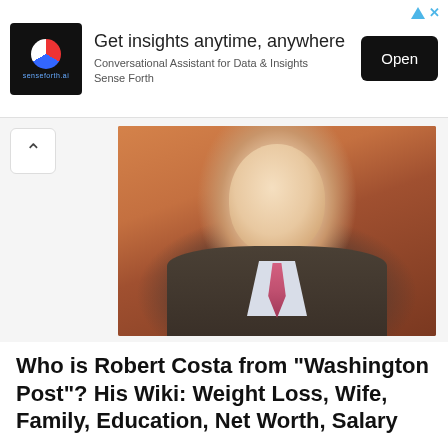[Figure (infographic): Advertisement banner for Sense Forth AI. Shows logo on black square, headline 'Get insights anytime, anywhere', subtext 'Conversational Assistant for Data & Insights Sense Forth', and a black 'Open' button. Ad icons (triangle and X) in top-right corner.]
[Figure (photo): Professional headshot photo of Robert Costa, a man in dark suit, light blue shirt, and pink tie, smiling, with a warm orange/brown blurred background.]
Who is Robert Costa from "Washington Post"? His Wiki: Weight Loss, Wife, Family, Education, Net Worth, Salary
BY ARTHUR - MAY 3, 2022